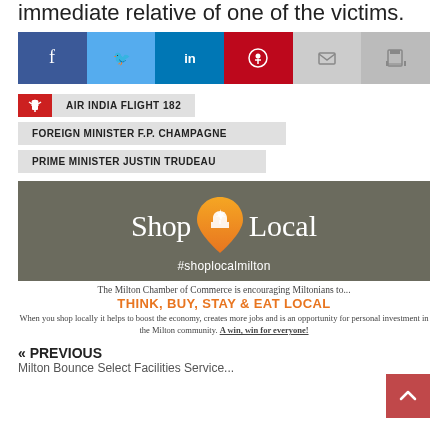immediate relative of one of the victims.
[Figure (infographic): Social share bar with Facebook, Twitter, LinkedIn, Pinterest, Email, and Print buttons]
AIR INDIA FLIGHT 182
FOREIGN MINISTER F.P. CHAMPAGNE
PRIME MINISTER JUSTIN TRUDEAU
[Figure (infographic): Shop Local #shoplocalmilton advertisement banner with map pin logo]
The Milton Chamber of Commerce is encouraging Miltonians to...
THINK, BUY, STAY & EAT LOCAL
When you shop locally it helps to boost the economy, creates more jobs and is an opportunity for personal investment in the Milton community. A win, win for everyone!
« PREVIOUS
Milton Bounce Select Facilities Service...